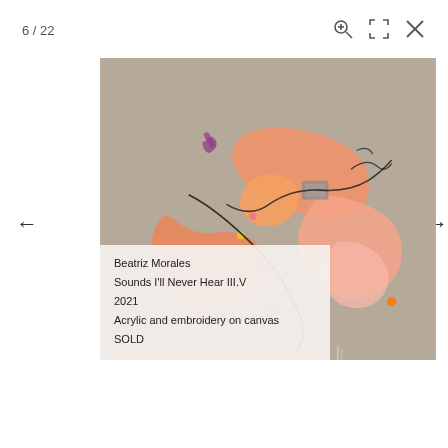6 / 22
[Figure (photo): Abstract painting on canvas with beige/tan background. Large orange and salmon-pink paint splashes with black line drawing (embroidery) forming loose curving shapes. Small purple and yellow accents visible. A small rectangular gray shape near center. Orange dot at lower right. Clear/white thread hanging from bottom.]
Beatriz Morales
Sounds I'll Never Hear III.V
2021
Acrylic and embroidery on canvas
SOLD